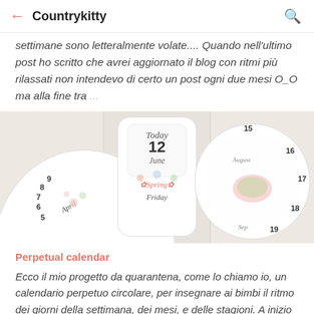← Countrykitty 🔍
settimane sono letteralmente volate.... Quando nell'ultimo post ho scritto che avrei aggiornato il blog con ritmi più rilassati non intendevo di certo un post ogni due mesi O_O ma alla fine tra ...
[Figure (photo): A decorative perpetual calendar made of circular layered pieces showing seasons, months, days. Visible text includes Today, 12, June, Spring, Friday, April, and various numbers.]
Perpetual calendar
Ecco il mio progetto da quarantena, come lo chiamo io, un calendario perpetuo circolare, per insegnare ai bimbi il ritmo dei giorni della settimana, dei mesi, e delle stagioni. A inizio